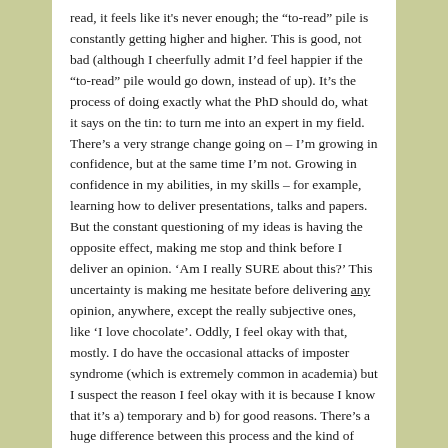read, it feels like it's never enough; the “to-read” pile is constantly getting higher and higher. This is good, not bad (although I cheerfully admit I’d feel happier if the “to-read” pile would go down, instead of up). It’s the process of doing exactly what the PhD should do, what it says on the tin: to turn me into an expert in my field. There’s a very strange change going on – I’m growing in confidence, but at the same time I’m not. Growing in confidence in my abilities, in my skills – for example, learning how to deliver presentations, talks and papers. But the constant questioning of my ideas is having the opposite effect, making me stop and think before I deliver an opinion. ‘Am I really SURE about this?’ This uncertainty is making me hesitate before delivering any opinion, anywhere, except the really subjective ones, like ‘I love chocolate’. Oddly, I feel okay with that, mostly. I do have the occasional attacks of imposter syndrome (which is extremely common in academia) but I suspect the reason I feel okay with it is because I know that it’s a) temporary and b) for good reasons. There’s a huge difference between this process and the kind of way that some